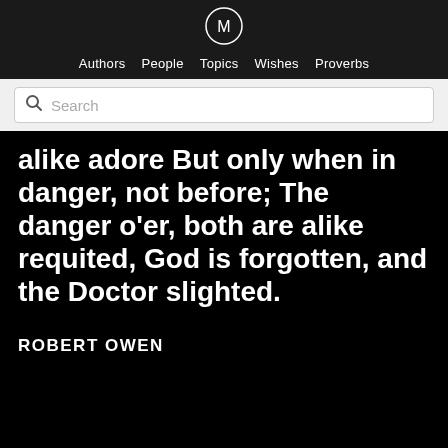[Figure (logo): Circular logo with letter M inside a circle, white outline on dark background]
Authors   People   Topics   Wishes   Proverbs
[Figure (screenshot): Search bar with magnifying glass icon and placeholder text 'Search']
alike adore But only when in danger, not before; The danger o'er, both are alike requited, God is forgotten, and the Doctor slighted.
ROBERT OWEN